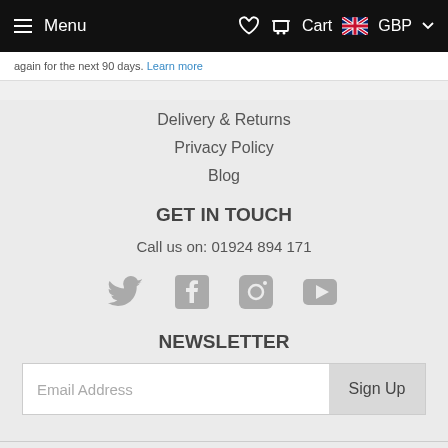Menu | Cart GBP
again for the next 90 days. Learn more
Delivery & Returns
Privacy Policy
Blog
GET IN TOUCH
Call us on: 01924 894 171
[Figure (infographic): Social media icons: Twitter, Facebook, Instagram, YouTube]
NEWSLETTER
Email Address Sign Up